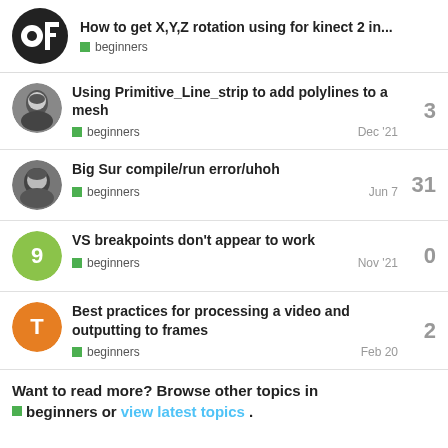How to get X,Y,Z rotation using for kinect 2 in... beginners
Using Primitive_Line_strip to add polylines to a mesh | beginners | Dec '21 | 3 replies
Big Sur compile/run error/uhoh | beginners | Jun 7 | 31 replies
VS breakpoints don't appear to work | beginners | Nov '21 | 0 replies
Best practices for processing a video and outputting to frames | beginners | Feb 20 | 2 replies
Want to read more? Browse other topics in beginners or view latest topics.